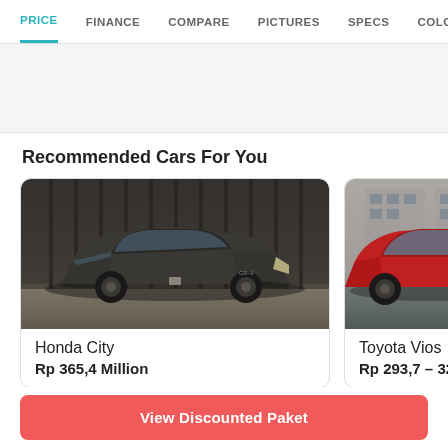PRICE | FINANCE | COMPARE | PICTURES | SPECS | COLORS | BROCHU...
Recommended Cars For You
[Figure (photo): Honda City sedan car photo — dark grey/charcoal color shown parked in studio environment with dark vertical panel backdrop]
Honda City
Rp 365,4 Million
[Figure (photo): Toyota Vios car photo — red color shown on street in front of modern building]
Toyota Vios
Rp 293,7 – 325,7 Mil...
View Discounted Paket